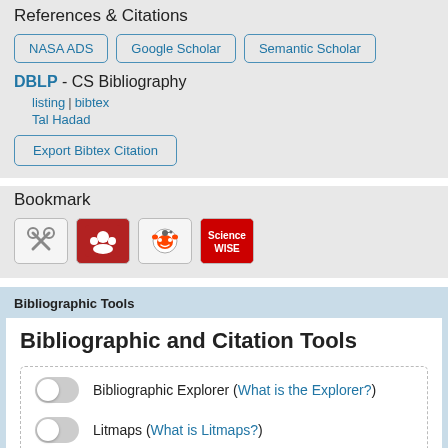References & Citations
NASA ADS | Google Scholar | Semantic Scholar
DBLP - CS Bibliography
listing | bibtex
Tal Hadad
Export Bibtex Citation
Bookmark
[Figure (other): Row of bookmark icons: BibSonomy scissors icon, Mendeley icon, Reddit alien icon, ScienceWISE icon]
Bibliographic Tools
Bibliographic and Citation Tools
Bibliographic Explorer (What is the Explorer?)
Litmaps (What is Litmaps?)
scite Smart Citations (What are Smart Citations?)